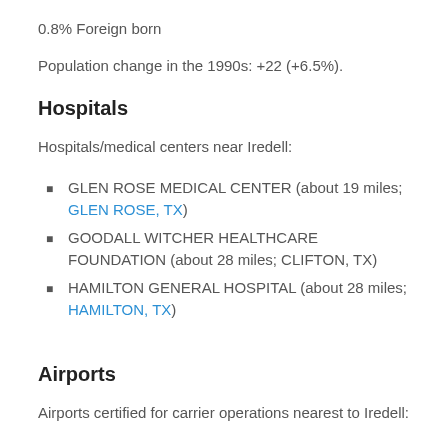0.8% Foreign born
Population change in the 1990s: +22 (+6.5%).
Hospitals
Hospitals/medical centers near Iredell:
GLEN ROSE MEDICAL CENTER (about 19 miles; GLEN ROSE, TX)
GOODALL WITCHER HEALTHCARE FOUNDATION (about 28 miles; CLIFTON, TX)
HAMILTON GENERAL HOSPITAL (about 28 miles; HAMILTON, TX)
Airports
Airports certified for carrier operations nearest to Iredell: